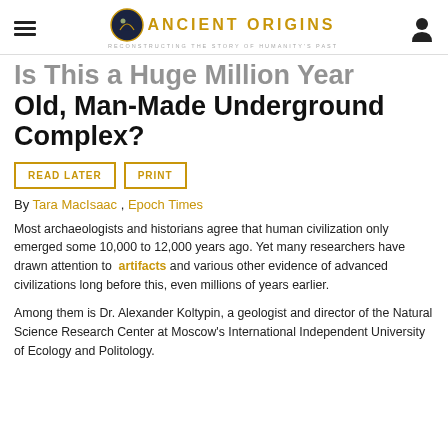Ancient Origins — Reconstructing the story of humanity's past
Is This a Huge Million-Year-Old, Man-Made Underground Complex?
READ LATER
PRINT
By Tara MacIsaac , Epoch Times
Most archaeologists and historians agree that human civilization only emerged some 10,000 to 12,000 years ago. Yet many researchers have drawn attention to artifacts and various other evidence of advanced civilizations long before this, even millions of years earlier.
Among them is Dr. Alexander Koltypin, a geologist and director of the Natural Science Research Center at Moscow's International Independent University of Ecology and Politology.